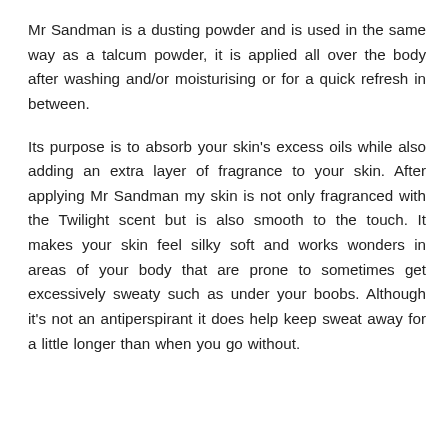Mr Sandman is a dusting powder and is used in the same way as a talcum powder, it is applied all over the body after washing and/or moisturising or for a quick refresh in between.
Its purpose is to absorb your skin's excess oils while also adding an extra layer of fragrance to your skin. After applying Mr Sandman my skin is not only fragranced with the Twilight scent but is also smooth to the touch. It makes your skin feel silky soft and works wonders in areas of your body that are prone to sometimes get excessively sweaty such as under your boobs. Although it's not an antiperspirant it does help keep sweat away for a little longer than when you go without.